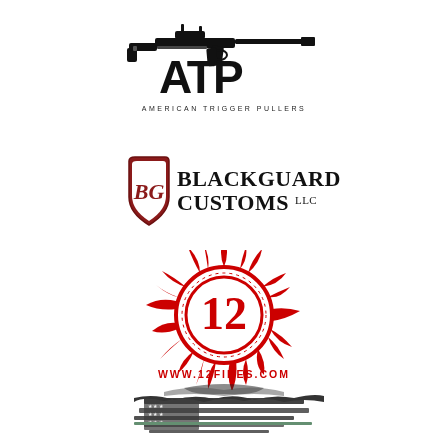[Figure (logo): American Trigger Pullers (ATP) logo — silhouette of an assault rifle above large letters A T P in black, with text 'AMERICAN TRIGGER PULLERS' below in spaced caps]
[Figure (logo): Blackguard Customs LLC logo — dark red shield with ornate initials on left, 'BLACKGUARD CUSTOMS LLC' text in bold serif on right]
[Figure (logo): 12 Fires logo — red tribal sun/flame circle enclosing bold number 12, with URL www.12fires.com below in red spaced caps]
[Figure (illustration): Partially visible logo at bottom — appears to be a distressed American flag combined with patriotic eagle or similar design in black/white/green tones]